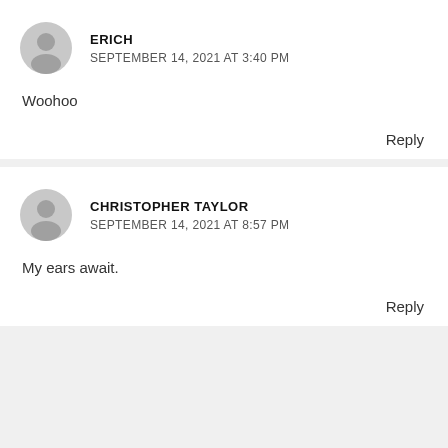ERICH
SEPTEMBER 14, 2021 AT 3:40 PM
Woohoo
Reply
CHRISTOPHER TAYLOR
SEPTEMBER 14, 2021 AT 8:57 PM
My ears await.
Reply